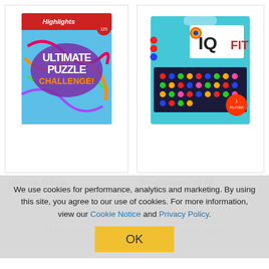[Figure (illustration): Ultimate Puzzle Challenge book cover with colorful maze/waterslide park illustration and bold text]
Ultimate Puzzle Challenge
[Figure (illustration): SmartGames IQ Fit puzzle game box in teal/blue color with colorful puzzle pieces]
SmartGames: IQ Fit
Challenge
$1
LEARN MORE
LEARN MORE
We use cookies for performance, analytics and marketing. By using this site, you agree to our use of cookies. For more information, view our Cookie Notice and Privacy Policy.
OK